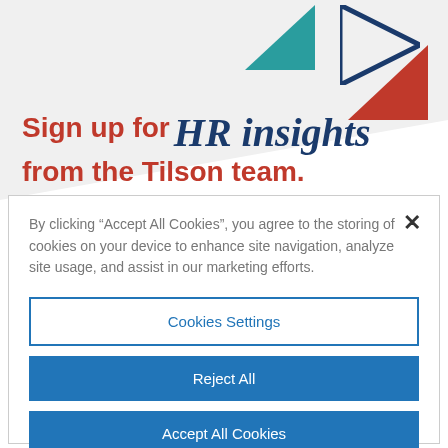[Figure (illustration): Light gray angled background banner with teal triangle (top center), navy outline triangle and red filled triangle (top right corner)]
Sign up for HR insights from the Tilson team.
By clicking “Accept All Cookies”, you agree to the storing of cookies on your device to enhance site navigation, analyze site usage, and assist in our marketing efforts.
Cookies Settings
Reject All
Accept All Cookies